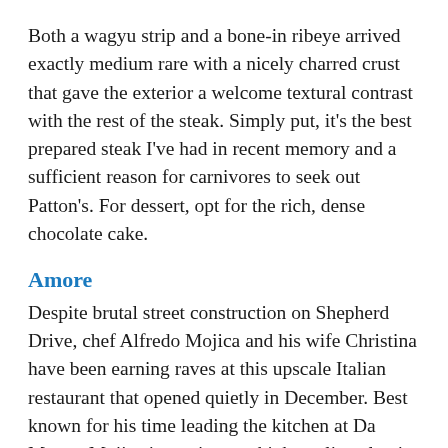Both a wagyu strip and a bone-in ribeye arrived exactly medium rare with a nicely charred crust that gave the exterior a welcome textural contrast with the rest of the steak. Simply put, it's the best prepared steak I've had in recent memory and a sufficient reason for carnivores to seek out Patton's. For dessert, opt for the rich, dense chocolate cake.
Amore
Despite brutal street construction on Shepherd Drive, chef Alfredo Mojica and his wife Christina have been earning raves at this upscale Italian restaurant that opened quietly in December. Best known for his time leading the kitchen at Da Marco, Mojica is turning out high quality, classic Italian fare in a comfortable, intimate setting.
Highlights from a recent meal included Patagonian prawns